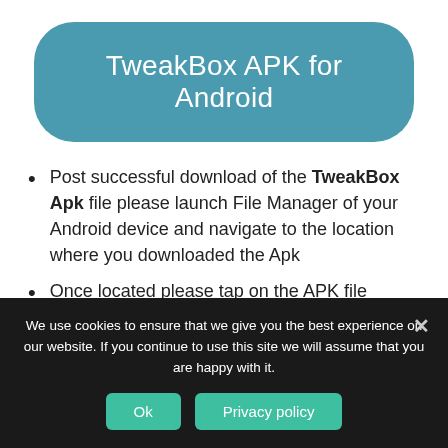TweakBox APK for Android
Post successful download of the TweakBox Apk file please launch File Manager of your Android device and navigate to the location where you downloaded the Apk
Once located please tap on the APK file for the installation process to begin
We use cookies to ensure that we give you the best experience on our website. If you continue to use this site we will assume that you are happy with it.
Ok
Privacy policy